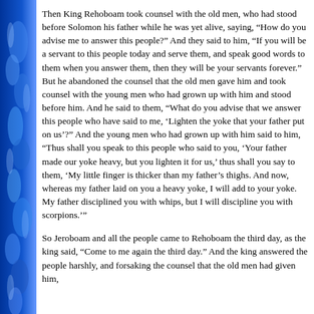Then King Rehoboam took counsel with the old men, who had stood before Solomon his father while he was yet alive, saying, “How do you advise me to answer this people?” And they said to him, “If you will be a servant to this people today and serve them, and speak good words to them when you answer them, then they will be your servants forever.” But he abandoned the counsel that the old men gave him and took counsel with the young men who had grown up with him and stood before him. And he said to them, “What do you advise that we answer this people who have said to me, ‘Lighten the yoke that your father put on us’?” And the young men who had grown up with him said to him, “Thus shall you speak to this people who said to you, ‘Your father made our yoke heavy, but you lighten it for us,’ thus shall you say to them, ‘My little finger is thicker than my father’s thighs. And now, whereas my father laid on you a heavy yoke, I will add to your yoke. My father disciplined you with whips, but I will discipline you with scorpions.’”
So Jeroboam and all the people came to Rehoboam the third day, as the king said, “Come to me again the third day.” And the king answered the people harshly, and forsaking the counsel that the old men had given him,